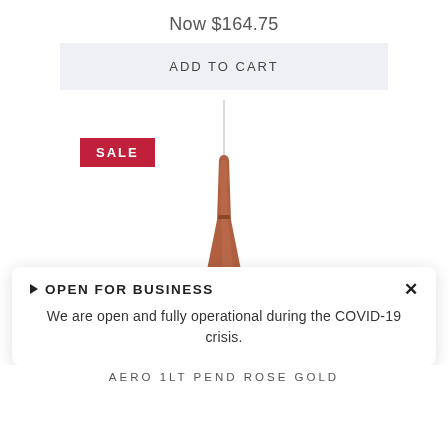Now $164.75
ADD TO CART
[Figure (photo): Rose gold Aero 1LT pendant light fixture with a slim elongated teardrop/cone body tapering to a thin wire, rose gold/copper color, shown on white background. A red SALE badge appears in the upper-left area of the image.]
▶ OPEN FOR BUSINESS
We are open and fully operational during the COVID-19 crisis.
AERO 1LT PEND ROSE GOLD